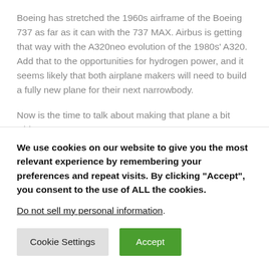Boeing has stretched the 1960s airframe of the Boeing 737 as far as it can with the 737 MAX. Airbus is getting that way with the A320neo evolution of the 1980s' A320. Add that to the opportunities for hydrogen power, and it seems likely that both airplane makers will need to build a fully new plane for their next narrowbody.
Now is the time to talk about making that plane a bit wider.
“The simple fact is that in the age of rising airfares, work-from-home forever and the incoming metaverse
We use cookies on our website to give you the most relevant experience by remembering your preferences and repeat visits. By clicking “Accept”, you consent to the use of ALL the cookies.
Do not sell my personal information.